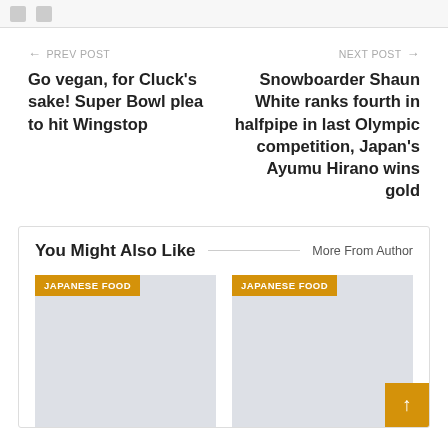← PREV POST
Go vegan, for Cluck's sake! Super Bowl plea to hit Wingstop
NEXT POST →
Snowboarder Shaun White ranks fourth in halfpipe in last Olympic competition, Japan's Ayumu Hirano wins gold
You Might Also Like
More From Author
[Figure (other): Card with JAPANESE FOOD badge and gray placeholder image]
[Figure (other): Card with JAPANESE FOOD badge and gray placeholder image]